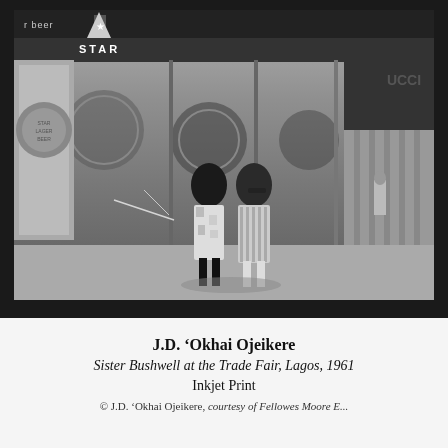[Figure (photo): Black and white photograph of two women standing together outdoors at what appears to be the Lagos Trade Fair in 1961. Behind them are large Star Beer advertising displays and a building with text visible. One woman wears a floral dress, the other a striped dress with sunglasses.]
J.D. 'Okhai Ojeikere
Sister Bushwell at the Trade Fair, Lagos, 1961
Inkjet Print
© J.D. 'Okhai Ojeikere, courtesy of Fellowes Moore E...